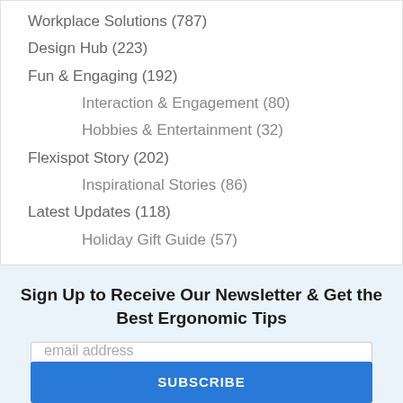Workplace Solutions (787)
Design Hub (223)
Fun & Engaging (192)
Interaction & Engagement (80)
Hobbies & Entertainment (32)
Flexispot Story (202)
Inspirational Stories (86)
Latest Updates (118)
Holiday Gift Guide (57)
Sign Up to Receive Our Newsletter & Get the Best Ergonomic Tips
email address
SUBSCRIBE